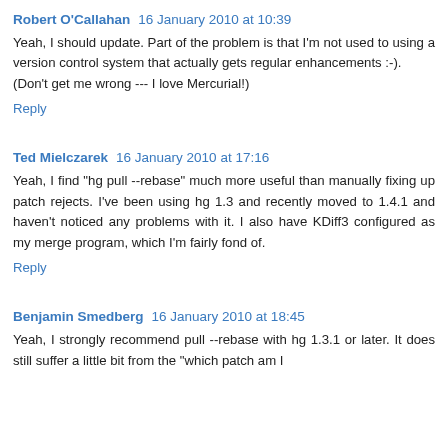Robert O'Callahan  16 January 2010 at 10:39
Yeah, I should update. Part of the problem is that I'm not used to using a version control system that actually gets regular enhancements :-).
(Don't get me wrong --- I love Mercurial!)
Reply
Ted Mielczarek  16 January 2010 at 17:16
Yeah, I find "hg pull --rebase" much more useful than manually fixing up patch rejects. I've been using hg 1.3 and recently moved to 1.4.1 and haven't noticed any problems with it. I also have KDiff3 configured as my merge program, which I'm fairly fond of.
Reply
Benjamin Smedberg  16 January 2010 at 18:45
Yeah, I strongly recommend pull --rebase with hg 1.3.1 or later. It does still suffer a little bit from the "which patch am I